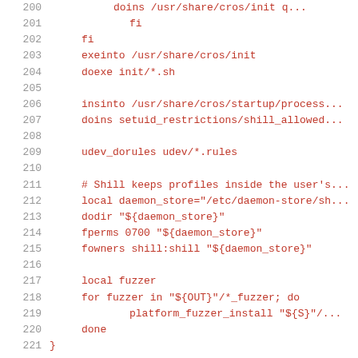Source code listing, lines 200-221
200  (truncated line)
201      fi
202  fi
203  exeinto /usr/share/cros/init
204  doexe init/*.sh
205  (blank)
206  insinto /usr/share/cros/startup/process...
207  doins setuid_restrictions/shill_allowed...
208  (blank)
209  udev_dorules udev/*.rules
210  (blank)
211  # Shill keeps profiles inside the user's...
212  local daemon_store="/etc/daemon-store/sh...
213  dodir "${daemon_store}"
214  fperms 0700 "${daemon_store}"
215  fowners shill:shill "${daemon_store}"
216  (blank)
217  local fuzzer
218  for fuzzer in "${OUT}"/*_fuzzer; do
219          platform_fuzzer_install "${S}"/...
220  done
221  }